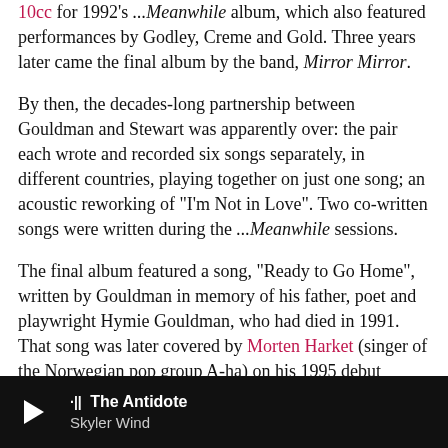10cc for 1992's ...Meanwhile album, which also featured performances by Godley, Creme and Gold. Three years later came the final album by the band, Mirror Mirror.
By then, the decades-long partnership between Gouldman and Stewart was apparently over: the pair each wrote and recorded six songs separately, in different countries, playing together on just one song; an acoustic reworking of "I'm Not in Love". Two co-written songs were written during the ...Meanwhile sessions.
The final album featured a song, "Ready to Go Home", written by Gouldman in memory of his father, poet and playwright Hymie Gouldman, who had died in 1991. That song was later covered by Morten Harket (singer of the Norwegian pop group A-ha) on his 1995 debut album Wild Seed.
In an interview with the Jewish Telegraph, Gouldman spoke of his father's influence on his life and career:
The Antidote · Skyler Wind